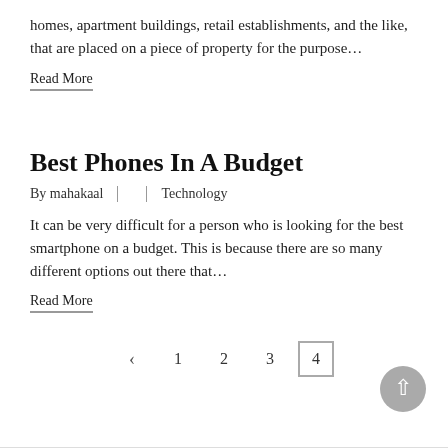homes, apartment buildings, retail establishments, and the like, that are placed on a piece of property for the purpose…
Read More
Best Phones In A Budget
By mahakaal  |  |  Technology
It can be very difficult for a person who is looking for the best smartphone on a budget. This is because there are so many different options out there that…
Read More
< 1 2 3 4